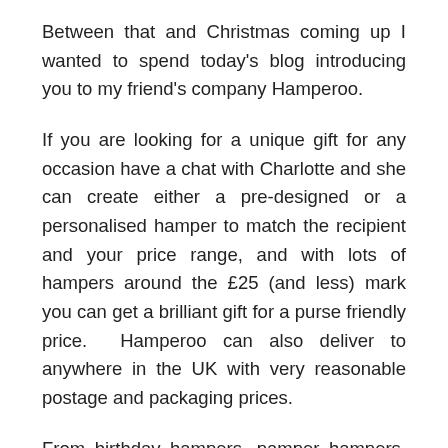Between that and Christmas coming up I wanted to spend today's blog introducing you to my friend's company Hamperoo.
If you are looking for a unique gift for any occasion have a chat with Charlotte and she can create either a pre-designed or a personalised hamper to match the recipient and your price range, and with lots of hampers around the £25 (and less) mark you can get a brilliant gift for a purse friendly price.  Hamperoo can also deliver to anywhere in the UK with very reasonable postage and packaging prices.
From birthday hampers, pamper hampers, new baby hampers, children's hampers (Toy Story,